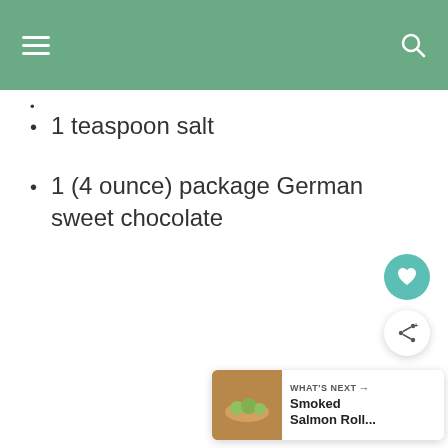1 teaspoon salt
1 (4 ounce) package German sweet chocolate